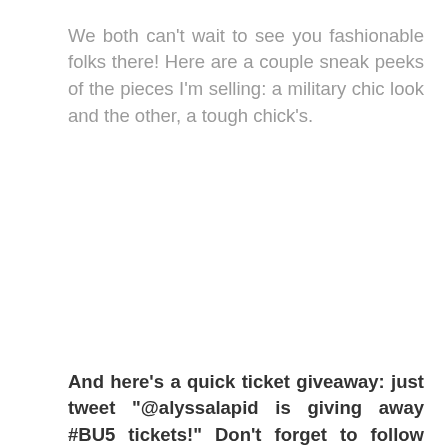We both can't wait to see you fashionable folks there! Here are a couple sneak peeks of the pieces I'm selling: a military chic look and the other, a tough chick's.
And here's a quick ticket giveaway: just tweet "@alyssalapid is giving away #BU5 tickets!" Don't forget to follow @alyssalapid – I'll be giving 8 lucky winners two (2) tickets each (for the winner plus a friend! So two people per winner!)